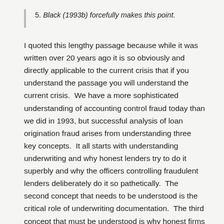5. Black (1993b) forcefully makes this point.
I quoted this lengthy passage because while it was written over 20 years ago it is so obviously and directly applicable to the current crisis that if you understand the passage you will understand the current crisis.  We have a more sophisticated understanding of accounting control fraud today than we did in 1993, but successful analysis of loan origination fraud arises from understanding three key concepts.  It all starts with understanding underwriting and why honest lenders try to do it superbly and why the officers controlling fraudulent lenders deliberately do it so pathetically.  The second concept that needs to be understood is the critical role of underwriting documentation.  The third concept that must be understood is why honest firms treasure effective internal and external controls and why and how